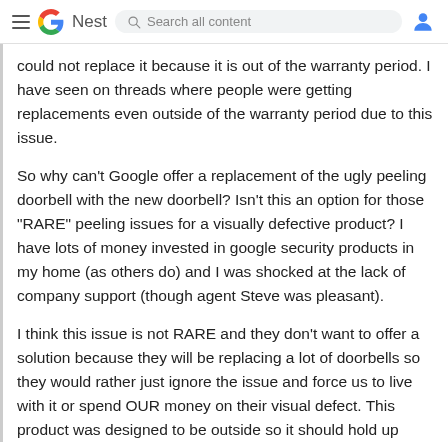≡ G Nest  🔍 Search all content  👤
could not replace it because it is out of the warranty period. I have seen on threads where people were getting replacements even outside of the warranty period due to this issue.
So why can't Google offer a replacement of the ugly peeling doorbell with the new doorbell?  Isn't this an option for those "RARE" peeling issues for a visually defective product?  I have lots of money invested in google security products in my home (as others do) and I was shocked at the lack of company support (though agent Steve was pleasant).
I think this issue is not RARE and they don't want to offer a solution because they will be replacing a lot of doorbells so they would rather just ignore the issue and force us to live with it or spend OUR money on their visual defect.  This product was designed to be outside so it should hold up